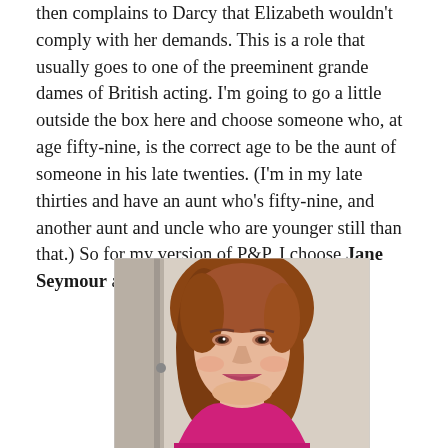then complains to Darcy that Elizabeth wouldn't comply with her demands. This is a role that usually goes to one of the preeminent grande dames of British acting. I'm going to go a little outside the box here and choose someone who, at age fifty-nine, is the correct age to be the aunt of someone in his late twenties. (I'm in my late thirties and have an aunt who's fifty-nine, and another aunt and uncle who are younger still than that.) So for my version of P&P, I choose Jane Seymour as Lady Catherine.
[Figure (photo): Portrait photo of Jane Seymour, a woman with auburn/reddish-brown hair, smiling, wearing what appears to be a pink/magenta outfit, photographed against a light background.]